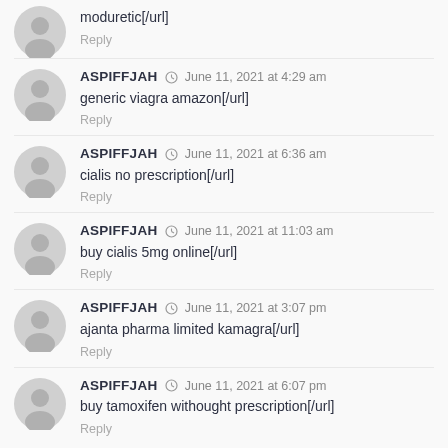moduretic[/url]
Reply
ASPIFFJAH  June 11, 2021 at 4:29 am
generic viagra amazon[/url]
Reply
ASPIFFJAH  June 11, 2021 at 6:36 am
cialis no prescription[/url]
Reply
ASPIFFJAH  June 11, 2021 at 11:03 am
buy cialis 5mg online[/url]
Reply
ASPIFFJAH  June 11, 2021 at 3:07 pm
ajanta pharma limited kamagra[/url]
Reply
ASPIFFJAH  June 11, 2021 at 6:07 pm
buy tamoxifen withought prescription[/url]
Reply